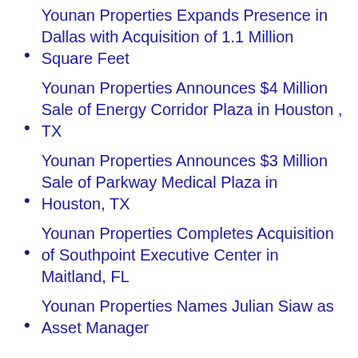Younan Properties Expands Presence in Dallas with Acquisition of 1.1 Million Square Feet
Younan Properties Announces $4 Million Sale of Energy Corridor Plaza in Houston, TX
Younan Properties Announces $3 Million Sale of Parkway Medical Plaza in Houston, TX
Younan Properties Completes Acquisition of Southpoint Executive Center in Maitland, FL
Younan Properties Names Julian Siaw as Asset Manager